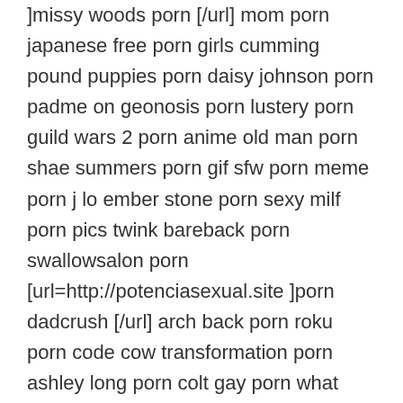]missy woods porn [/url] mom porn japanese free porn girls cumming pound puppies porn daisy johnson porn padme on geonosis porn lustery porn guild wars 2 porn anime old man porn shae summers porn gif sfw porn meme porn j lo ember stone porn sexy milf porn pics twink bareback porn swallowsalon porn [url=http://potenciasexual.site ]porn dadcrush [/url] arch back porn roku porn code cow transformation porn ashley long porn colt gay porn what useful products do anabolic reactions form? server porn lesbian anal porn